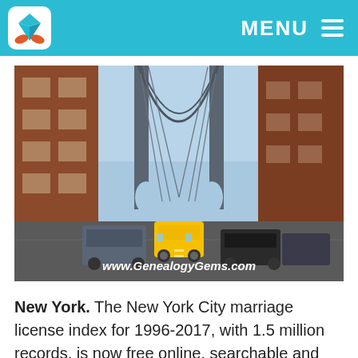MENU
[Figure (photo): Street-level view of the Manhattan Bridge in New York City with red brick buildings on both sides, cars including a yellow taxi in the foreground, and the bridge structure framing a cloudy sky. Watermark reads www.GenealogyGems.com]
New York. The New York City marriage license index for 1996-2017, with 1.5 million records, is now free online, searchable and even downloadable. This announcement is from Reclaim the